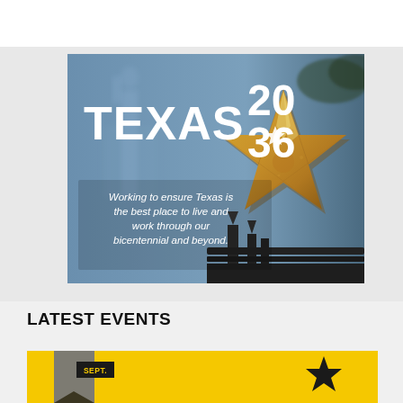[Figure (photo): Texas 2036 promotional image. A golden lone star ornament is prominently featured on the right, against a blurred blue background of what appears to be the Texas state capitol. On the left in bold white text: 'TEXAS 2036' with a star replacing the zero. Below that in smaller white text: 'Working to ensure Texas is the best place to live and work through our bicentennial and beyond.']
LATEST EVENTS
[Figure (photo): Bottom banner showing a yellow/gold background with a dark star ornament on the right side and what appears to be a flag element on the left. A dark label box reads 'SEPT.' in yellow text.]